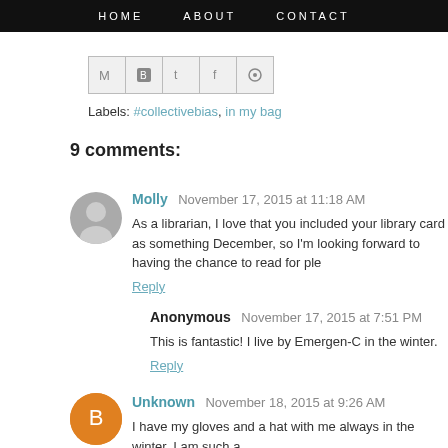HOME   ABOUT   CONTACT
[Figure (other): Social sharing icons: email, blogger, twitter, facebook, pinterest]
Labels: #collectivebias, in my bag
9 comments:
Molly  November 17, 2015 at 11:18 AM
As a librarian, I love that you included your library card as something December, so I'm looking forward to having the chance to read for ple
Reply
Anonymous  November 17, 2015 at 7:51 PM
This is fantastic! I live by Emergen-C in the winter.
Reply
Unknown  November 18, 2015 at 9:26 AM
I have my gloves and a hat with me always in the winter. I am such a